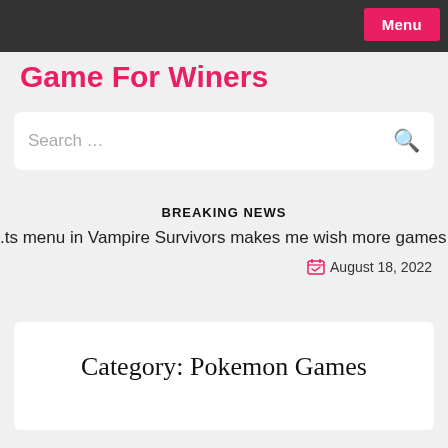Menu
Game For Winers
Search …
BREAKING NEWS
.ts menu in Vampire Survivors makes me wish more games h
August 18, 2022
Category: Pokemon Games